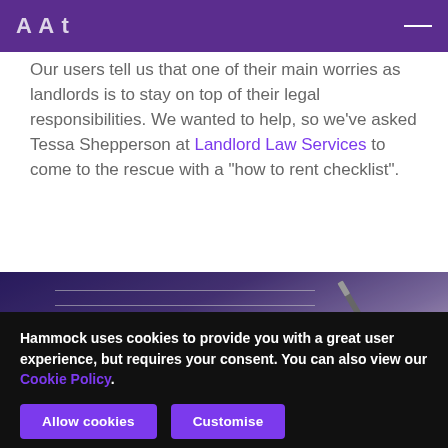Hammock
Our users tell us that one of their main worries as landlords is to stay on top of their legal responsibilities. We wanted to help, so we’ve asked Tessa Shepperson at Landlord Law Services to come to the rescue with a “how to rent checklist”.
[Figure (photo): Blurred close-up photo of a person’s hand writing in a notebook with a pen, with a dark purple-toned background]
Hammock uses cookies to provide you with a great user experience, but requires your consent. You can also view our Cookie Policy.
Allow cookies | Customise